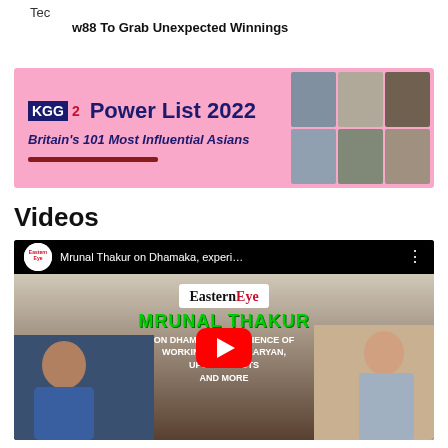Tec
w88 To Grab Unexpected Winnings
[Figure (illustration): GG2 Power List 2022 advertisement banner — Britain's 101 Most Influential Asians, with a pink background and grid of headshot photos on the right side.]
Videos
[Figure (screenshot): YouTube video thumbnail for Eastern Eye channel — Mrunal Thakur on Dhamaka, experience of working with Kartik Aaryan, upcoming projects and more. Shows two people being interviewed with EasternEye and MRUNAL THAKUR branding and a red YouTube play button overlay.]